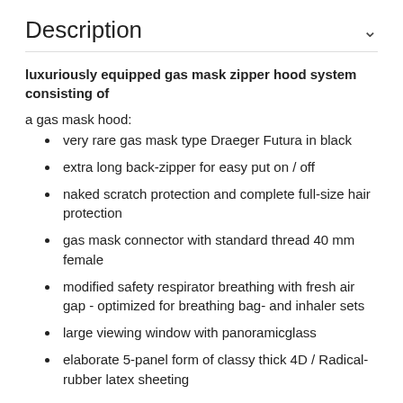Description
luxuriously equipped gas mask zipper hood system consisting of
a gas mask hood:
very rare gas mask type Draeger Futura in black
extra long back-zipper for easy put on / off
naked scratch protection and complete full-size hair protection
gas mask connector with standard thread 40 mm female
modified safety respirator breathing with fresh air gap - optimized for breathing bag- and inhaler sets
large viewing window with panoramicglass
elaborate 5-panel form of classy thick 4D / Radical-rubber latex sheeting